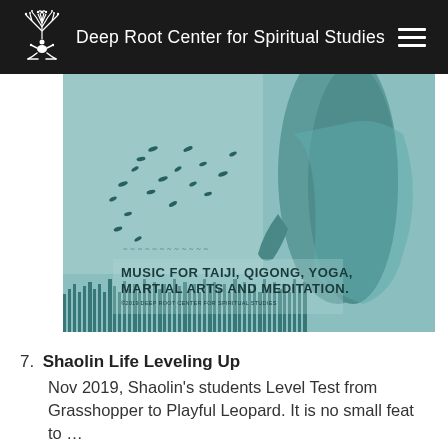Deep Root Center for Spiritual Studies
[Figure (illustration): Album artwork for music release. Teal/cyan toned image of a person in flowing robes with birds/leaves scattering. Text reads 'MUSIC FOR TAIJI, QIGONG, YOGA, MARTIAL ARTS AND MEDITATION. ©2019 DEEP ROOT CENTER FOR SPIRITUAL STUDIES']
7. Shaolin Life Leveling Up
Nov 2019, Shaolin's students Level Test from Grasshopper to Playful Leopard. It is no small feat to …